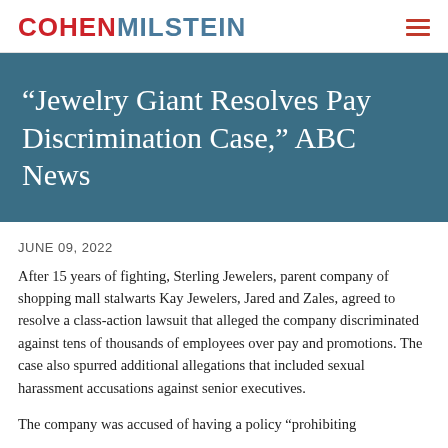COHEN MILSTEIN
“Jewelry Giant Resolves Pay Discrimination Case,” ABC News
JUNE 09, 2022
After 15 years of fighting, Sterling Jewelers, parent company of shopping mall stalwarts Kay Jewelers, Jared and Zales, agreed to resolve a class-action lawsuit that alleged the company discriminated against tens of thousands of employees over pay and promotions. The case also spurred additional allegations that included sexual harassment accusations against senior executives.
The company was accused of having a policy "prohibiting